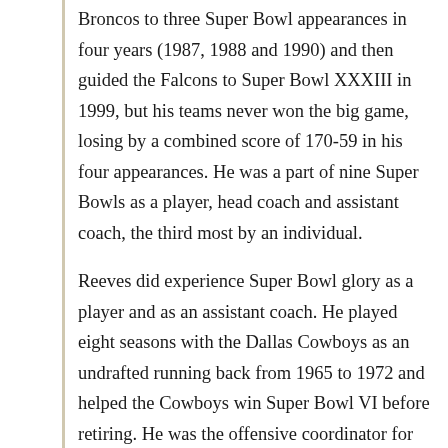Broncos to three Super Bowl appearances in four years (1987, 1988 and 1990) and then guided the Falcons to Super Bowl XXXIII in 1999, but his teams never won the big game, losing by a combined score of 170-59 in his four appearances. He was a part of nine Super Bowls as a player, head coach and assistant coach, the third most by an individual.
Reeves did experience Super Bowl glory as a player and as an assistant coach. He played eight seasons with the Dallas Cowboys as an undrafted running back from 1965 to 1972 and helped the Cowboys win Super Bowl VI before retiring. He was the offensive coordinator for the Cowboys when they won Super Bowl XII.
But his first opportunity to be a head coach came with the Broncos in 1981, when he was named the ninth coach in